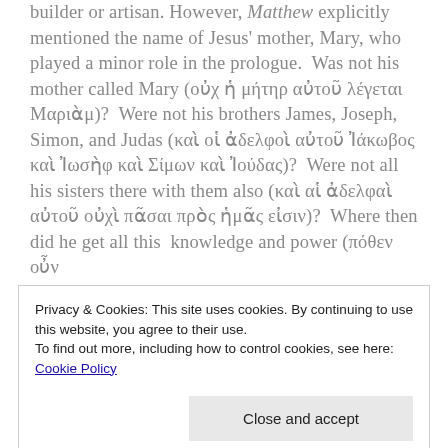builder or artisan. However, Matthew explicitly mentioned the name of Jesus' mother, Mary, who played a minor role in the prologue. Was not his mother called Mary (οὐχ ἡ μήτηρ αὐτοῦ λέγεται Μαριὰμ)? Were not his brothers James, Joseph, Simon, and Judas (καὶ οἱ ἀδελφοὶ αὐτοῦ Ἰάκωβος καὶ Ἰωσὴφ καὶ Σίμων καὶ Ἰούδας)? Were not all his sisters there with them also (καὶ αἱ ἀδελφαὶ αὐτοῦ οὐχὶ πᾶσαι πρὸς ἡμᾶς εἰσιν)? Where then did he get all this knowledge and power (πόθεν οὖν
Privacy & Cookies: This site uses cookies. By continuing to use this website, you agree to their use.
To find out more, including how to control cookies, see here: Cookie Policy
Close and accept